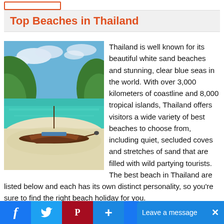Top Beaches in Thailand
[Figure (photo): A tropical Thailand beach scene with turquoise water, white sand, palm trees on a green hillside, and a traditional long-tail wooden boat moored at the shore under a partly cloudy blue sky.]
Thailand is well known for its beautiful white sand beaches and stunning, clear blue seas in the world. With over 3,000 kilometers of coastline and 8,000 tropical islands, Thailand offers visitors a wide variety of best beaches to choose from, including quiet, secluded coves and stretches of sand that are filled with wild partying tourists. The best beach in Thailand are listed below and each has its own distinct personality, so you're sure to find the right beach holiday for you.